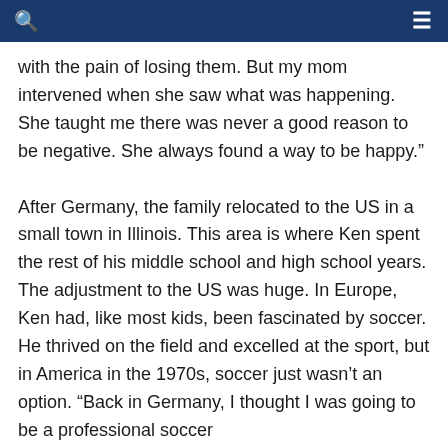[navigation bar with search and menu icons]
with the pain of losing them. But my mom intervened when she saw what was happening. She taught me there was never a good reason to be negative. She always found a way to be happy."
After Germany, the family relocated to the US in a small town in Illinois. This area is where Ken spent the rest of his middle school and high school years. The adjustment to the US was huge. In Europe, Ken had, like most kids, been fascinated by soccer. He thrived on the field and excelled at the sport, but in America in the 1970s, soccer just wasn't an option. "Back in Germany, I thought I was going to be a professional soccer